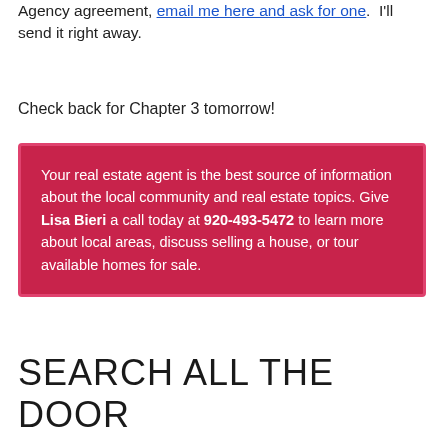Agency agreement, email me here and ask for one.  I'll send it right away.
Check back for Chapter 3 tomorrow!
Your real estate agent is the best source of information about the local community and real estate topics. Give Lisa Bieri a call today at 920-493-5472 to learn more about local areas, discuss selling a house, or tour available homes for sale.
SEARCH ALL THE DOOR